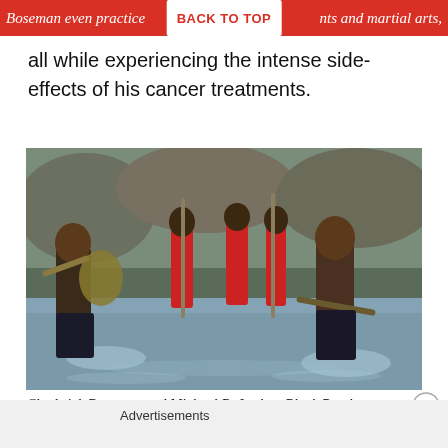Boseman even practice BACK TO TOP nts and martial arts,
all while experiencing the intense side-effects of his cancer treatments.
[Figure (photo): Scene from Black Panther (2018) showing two shirtless men fighting with spears in water, watched by warriors in red armor in the background. Chadwick Boseman on the left, Michael B. Jordan on the right.]
Chadwick Boseman and Michael B. Jordan. Black Panther. Marvel Studios. 2018.
Advertisements